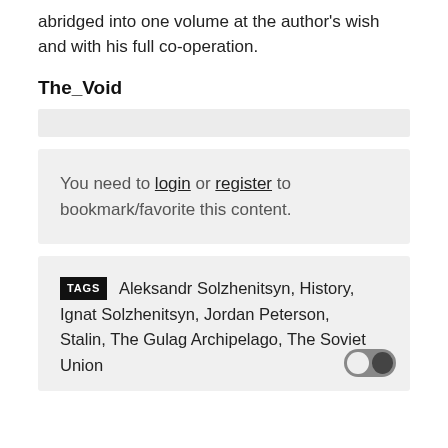abridged into one volume at the author's wish and with his full co-operation.
The_Void
You need to login or register to bookmark/favorite this content.
TAGS  Aleksandr Solzhenitsyn, History, Ignat Solzhenitsyn, Jordan Peterson, Stalin, The Gulag Archipelago, The Soviet Union